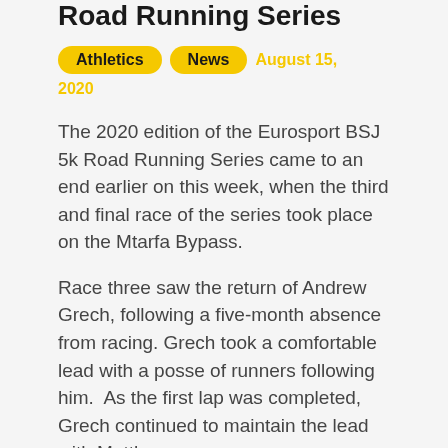Road Running Series
Athletics  News  August 15, 2020
The 2020 edition of the Eurosport BSJ 5k Road Running Series came to an end earlier on this week, when the third and final race of the series took place on the Mtarfa Bypass.
Race three saw the return of Andrew Grech, following a five-month absence from racing. Grech took a comfortable lead with a posse of runners following him.  As the first lap was completed, Grech continued to maintain the lead with Matthew